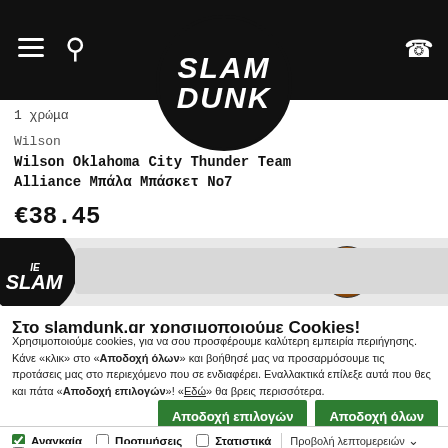[Figure (screenshot): Slam Dunk website navigation bar with hamburger menu, search icon, Slam Dunk logo, and phone icon on black background]
1 χρώμα
Wilson
Wilson Oklahoma City Thunder Team Alliance Μπάλα Μπάσκετ No7
€38.45
[Figure (screenshot): Slam Dunk banner strip with logo circle and basketball image]
Στο slamdunk.gr χρησιμοποιούμε Cookies!
Χρησιμοποιούμε cookies, για να σου προσφέρουμε καλύτερη εμπειρία περιήγησης. Κάνε «κλικ» στο «Αποδοχή όλων» και βοήθησέ μας να προσαρμόσουμε τις προτάσεις μας στο περιεχόμενο που σε ενδιαφέρει. Εναλλακτικά επίλεξε αυτά που θες και πάτα «Αποδοχή επιλογών»! «Εδώ» θα βρεις περισσότερα.
Αποδοχή επιλογών | Αποδοχή όλων
Αναγκαία | Προτιμήσεις | Στατιστικά | Εμπορικής προώθησης | Προβολή λεπτομερειών